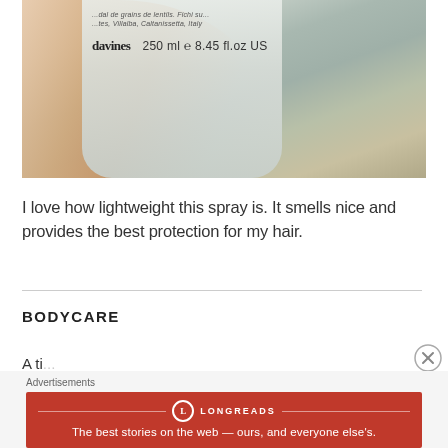[Figure (photo): A hand holding a Davines hair spray bottle showing label text '250 ml 8.45 fl.oz US' and brand name 'davines', photographed against a bathroom background]
I love how lightweight this spray is. It smells nice and provides the best protection for my hair.
BODYCARE
A ti...
Advertisements
[Figure (screenshot): Longreads advertisement banner — red background with Longreads logo and tagline 'The best stories on the web — ours, and everyone else's.']